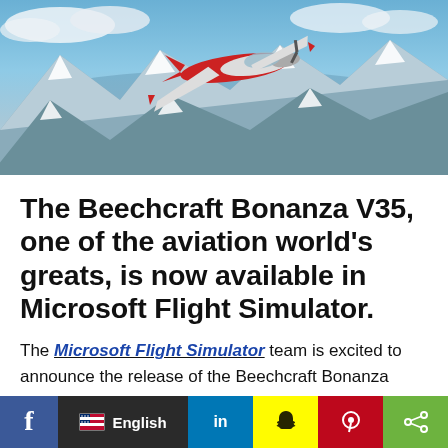[Figure (photo): Aerial photograph of a red and white Beechcraft Bonanza V35 aircraft flying over snow-capped mountains with blue sky and water visible.]
The Beechcraft Bonanza V35, one of the aviation world's greats, is now available in Microsoft Flight Simulator.
The Microsoft Flight Simulator team is excited to announce the release of the Beechcraft Bonanza V35, one of the most distinctive, memorably stylish aircraft in the history of aviation. A favorite among aviators, this classic